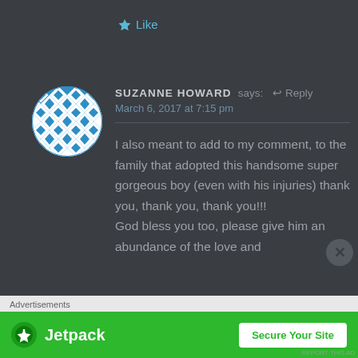★ Like
[Figure (illustration): Circular avatar with blue and white geometric diamond/rhombus pattern tile design]
SUZANNE HOWARD says: ↩ Reply
March 6, 2017 at 7:15 pm
I also meant to add to my comment, to the family that adopted this handsome super gorgeous boy (even with his injuries) thank you, thank you, thank you!!!
God bless you too, please give him an abundance of the love and
[Figure (other): Advertisement banner — Jetpack logo with 'Secure Your Site' button on green background]
Advertisements